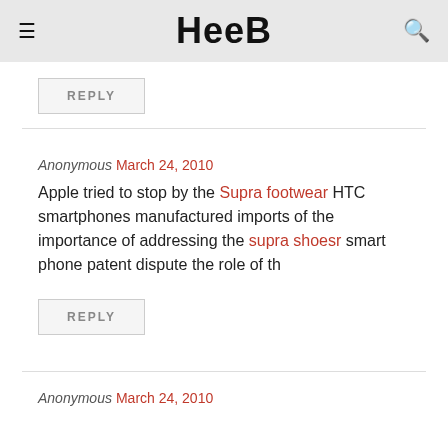Heeb
REPLY
Anonymous March 24, 2010
Apple tried to stop by the Supra footwear HTC smartphones manufactured imports of the importance of addressing the supra shoesr smart phone patent dispute the role of th
REPLY
Anonymous March 24, 2010